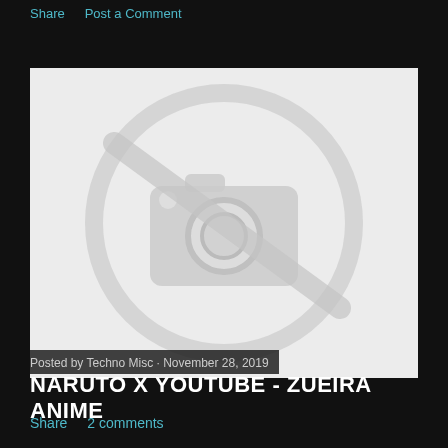Share   Post a Comment
[Figure (illustration): Placeholder image with a camera icon crossed out by a diagonal line, indicating a missing or unavailable image. Light gray on white background.]
Posted by Techno Misc · November 28, 2019
NARUTO X YOUTUBE - ZUEIRA ANIME
Share   2 comments